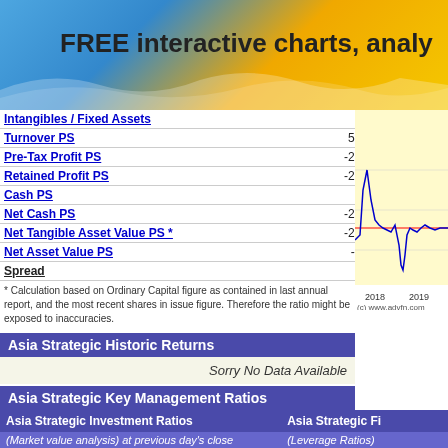FREE interactive charts, analy
|  | Value | Unit |
| --- | --- | --- |
| Intangibles / Fixed Assets | 37.26 | % |
| Turnover PS | 534.28 | ¢($) |
| Pre-Tax Profit PS | -212.59 | ¢($) |
| Retained Profit PS | -206.11 | ¢($) |
| Cash PS | 77.19 | ¢($) |
| Net Cash PS | -276.04 | ¢($) |
| Net Tangible Asset Value PS * | -289.18 | ¢($) |
| Net Asset Value PS | -51.81 | ¢($) |
| Spread | 5.00 (41.67%) |  |
[Figure (line-chart): Stock price line chart for Asia Strategic showing price data around 2018-2019, with blue line and red baseline, yellow background. Source: (c) www.advfn.com]
* Calculation based on Ordinary Capital figure as contained in last annual report, and the most recent shares in issue figure. Therefore the ratio might be exposed to inaccuracies.
Asia Strategic Historic Returns
Sorry No Data Available
Asia Strategic Key Management Ratios
| Asia Strategic Investment Ratios |  | Asia Strategic Fi... |
| --- | --- | --- |
| (Market value analysis) at previous day's close |  | (Leverage Ratios) |
| PQ Ratio | - | Debt Ratio |
| PE Ratio | - | Debt-to-Equity Ratio |
| Tobin's Q Ratio | 1.12 | Debt-to-Equity Ratio (e |
| Tobin's Q Ratio (excl. intangibles) | 2.15 | Debt-to-Equity Market... |